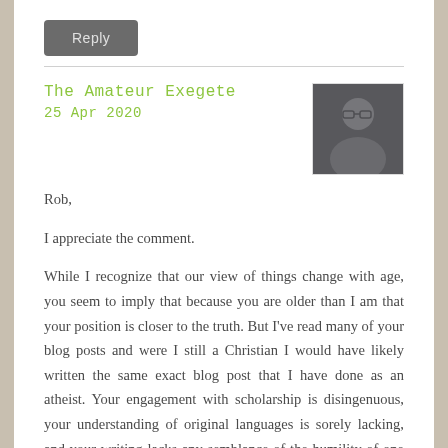Reply
The Amateur Exegete
25 Apr 2020
Rob,
I appreciate the comment.
While I recognize that our view of things change with age, you seem to imply that because you are older than I am that your position is closer to the truth. But I've read many of your blog posts and were I still a Christian I would have likely written the same exact blog post that I have done as an atheist. Your engagement with scholarship is disingenuous, your understanding of original languages is sorely lacking, and your writing lacks any semblance of the humility of one who claims